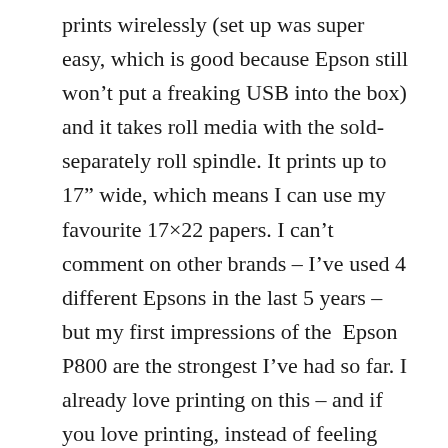prints wirelessly (set up was super easy, which is good because Epson still won't put a freaking USB into the box) and it takes roll media with the sold-separately roll spindle. It prints up to 17″ wide, which means I can use my favourite 17×22 papers. I can’t comment on other brands – I’ve used 4 different Epsons in the last 5 years – but my first impressions of the Epson P800 are the strongest I’ve had so far. I already love printing on this – and if you love printing, instead of feeling like you need to drink heavily before you turn the thing on, you’ll probably do it more. (You can find it on Amazon.com for $1200)
Don’t be that photographer that never sees his photographs in the real world, or whose best work